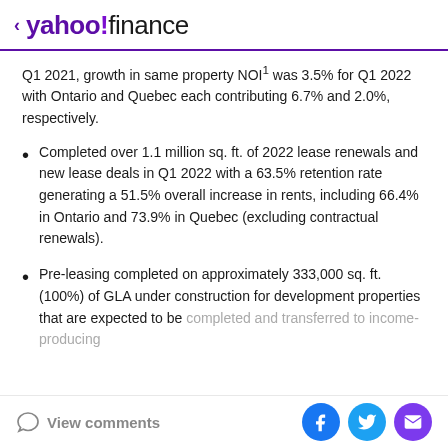< yahoo!finance
Q1 2021, growth in same property NOI¹ was 3.5% for Q1 2022 with Ontario and Quebec each contributing 6.7% and 2.0%, respectively.
Completed over 1.1 million sq. ft. of 2022 lease renewals and new lease deals in Q1 2022 with a 63.5% retention rate generating a 51.5% overall increase in rents, including 66.4% in Ontario and 73.9% in Quebec (excluding contractual renewals).
Pre-leasing completed on approximately 333,000 sq. ft. (100%) of GLA under construction for development properties that are expected to be completed and transferred to income-producing
View comments